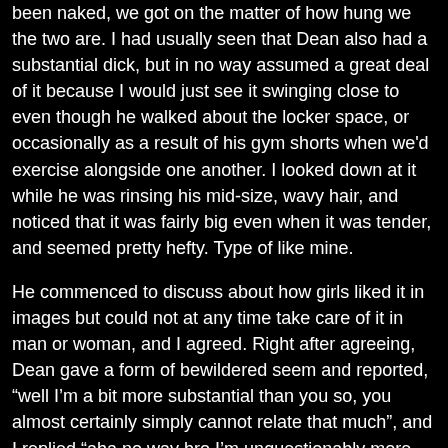been naked, we got on the matter of how hung we the two are. I had usually seen that Dean also had a substantial dick, but in no way assumed a great deal of it because I would just see it swinging close to even though he walked about the locker space, or occasionally as a result of his gym shorts when we'd exercise alongside one another. I looked down at it while he was rinsing his mid-size, wavy hair, and noticed that it was fairly big even when it was tender, and seemed pretty hefty. Type of like mine.
He commenced to discuss about how girls liked it in images but could not at any time take care of it in man or woman, and I agreed. Right after agreeing, Dean gave a form of bewildered seem and reported, “well I’m a bit more substantial than you so, you almost certainly simply cannot relate that much”, and I replied “aha no way bro I’m unquestionably more substantial than you”. He walked over to the shower proper future to me and confidently proposed we get hard and examine, “well then show it, bro”. I was quickly hesitant about it, but at the identical time I have always assumed Dean was a superior looking dude so, I figured we’d test it out.